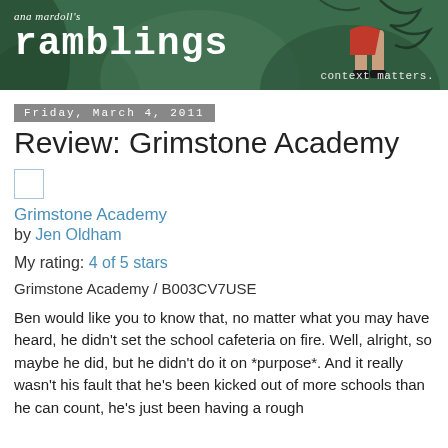[Figure (illustration): Blog header banner for 'ana mardoll's ramblings' with green forest/nature background illustration, showing legs of a figure in red dress and black heels. Text reads 'ana mardoll's ramblings' and 'context matters.' in bottom right.]
Friday, March 4, 2011
Review: Grimstone Academy
Grimstone Academy
by Jen Oldham
My rating: 4 of 5 stars
Grimstone Academy / B003CV7USE
Ben would like you to know that, no matter what you may have heard, he didn't set the school cafeteria on fire. Well, alright, so maybe he did, but he didn't do it on *purpose*. And it really wasn't his fault that he's been kicked out of more schools than he can count, he's just been having a rough